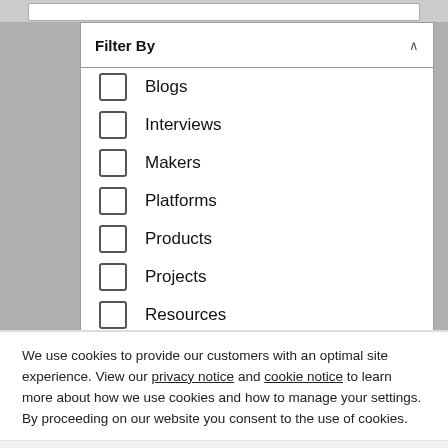Filter By
Blogs
Interviews
Makers
Platforms
Products
Projects
Resources
We use cookies to provide our customers with an optimal site experience. View our privacy notice and cookie notice to learn more about how we use cookies and how to manage your settings. By proceeding on our website you consent to the use of cookies.
Continue
Exit
Privacy Notice
Relay/Switches/Hardware